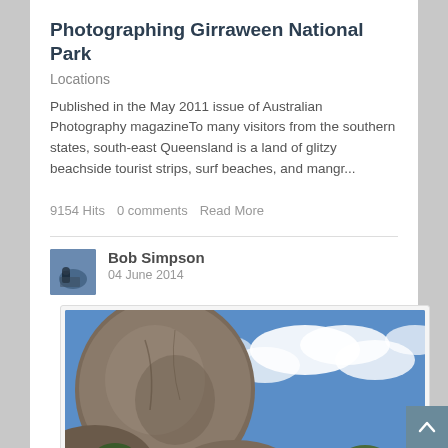Photographing Girraween National Park
Locations
Published in the May 2011 issue of Australian Photography magazineTo many visitors from the southern states, south-east Queensland is a land of glitzy beachside tourist strips, surf beaches, and mangr...
9154 Hits   0 comments   Read More
Bob Simpson
04 June 2014
[Figure (photo): Landscape photo of large rounded granite boulders at Girraween National Park with blue sky and clouds in the background]